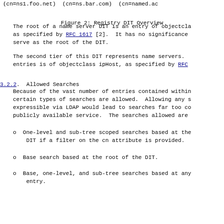(cn=ns1.foo.net)  (cn=ns.bar.com)  (cn=named.ac
Figure 2: Registry DIT Overview
The root of a name server DIT is an entry of objectcla as specified by RFC 1617 [2].  It has no significance serve as the root of the DIT.
The second tier of this DIT represents name servers. entries is of objectclass ipHost, as specified by RFC
3.2.2.  Allowed Searches
Because of the vast number of entries contained within certain types of searches are allowed.  Allowing any s expressible via LDAP would lead to searches far too co publicly available service.  The searches allowed are
One-level and sub-tree scoped searches based at the DIT if a filter on the cn attribute is provided.
Base search based at the root of the DIT.
Base, one-level, and sub-tree searches based at any entry.